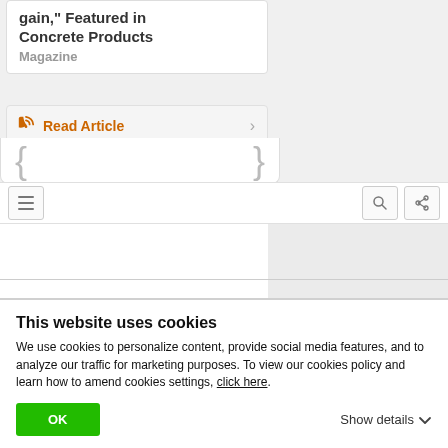gain," Featured in Concrete Products Magazine
Read Article
[Figure (screenshot): Navigation bar with hamburger menu icon on the left and search and share icons on the right]
ELEVATE – The
This website uses cookies
We use cookies to personalize content, provide social media features, and to analyze our traffic for marketing purposes. To view our cookies policy and learn how to amend cookies settings, click here.
OK
Show details